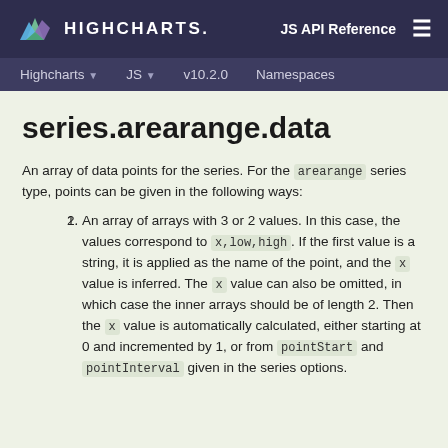HIGHCHARTS. JS API Reference
Highcharts JS v10.2.0 Namespaces
series.arearange.data
An array of data points for the series. For the arearange series type, points can be given in the following ways:
An array of arrays with 3 or 2 values. In this case, the values correspond to x,low,high. If the first value is a string, it is applied as the name of the point, and the x value is inferred. The x value can also be omitted, in which case the inner arrays should be of length 2. Then the x value is automatically calculated, either starting at 0 and incremented by 1, or from pointStart and pointInterval given in the series options.